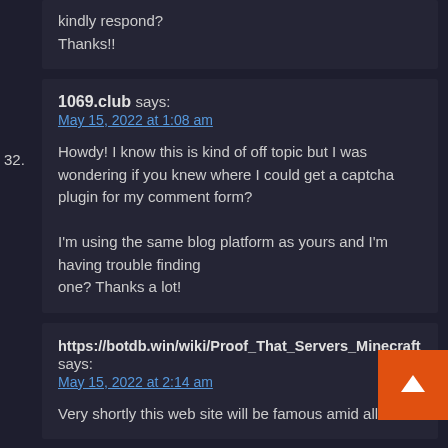kindly respond?
Thanks!!
32. 1069.club says:
May 15, 2022 at 1:08 am
Howdy! I know this is kind of off topic but I was wondering if you knew where I could get a captcha plugin for my comment form?

I'm using the same blog platform as yours and I'm having trouble finding one? Thanks a lot!
33. https://botdb.win/wiki/Proof_That_Servers_Minecraft says:
May 15, 2022 at 2:14 am
Very shortly this web site will be famous amid all